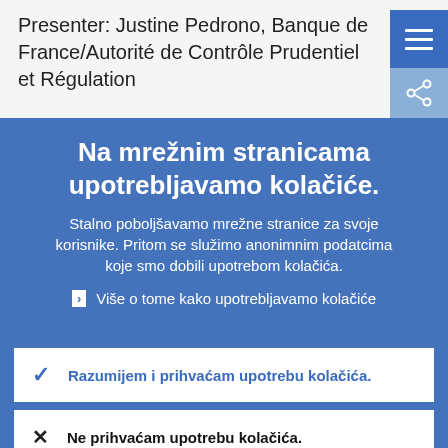Presenter: Justine Pedrono, Banque de France/Autorité de Contrôle Prudentiel et Régulation
Na mrežnim stranicama upotrebljavamo kolačiće.
Stalno poboljšavamo mrežne stranice za svoje korisnike. Pritom se služimo anonimnim podatcima koje smo dobili upotrebom kolačića.
Više o tome kako upotrebljavamo kolačiće
Razumijem i prihvaćam upotrebu kolačića.
Ne prihvaćam upotrebu kolačića.